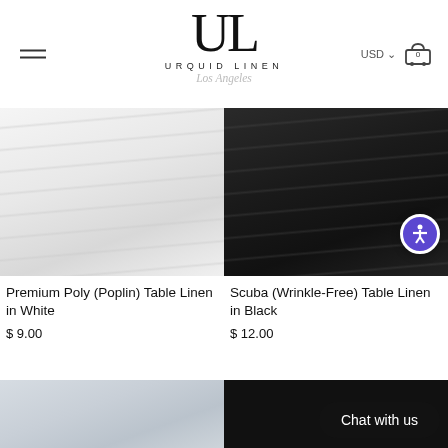URQUID LINEN Los Angeles — USD — Cart (0)
[Figure (photo): White fabric table linen with soft draping folds on a white background]
Premium Poly (Poplin) Table Linen in White
$ 9.00
[Figure (photo): Black scuba wrinkle-free fabric table linen with deep draping folds, with accessibility icon overlay]
Scuba (Wrinkle-Free) Table Linen in Black
$ 12.00
[Figure (photo): Partial view of silver/grey fabric table linen (bottom of page, cropped)]
[Figure (photo): Partial view of black fabric (bottom of page, cropped) with 'Chat with us' button overlay]